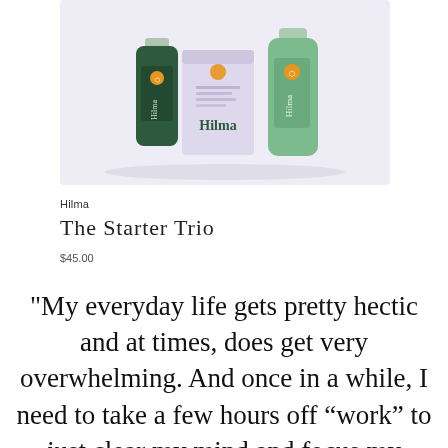[Figure (photo): Product photo showing Hilma supplement bottles and box: a dark green bottle on the left, a lavender/white box labeled Hilma in the center, and a light green bottle on the right, on a light gray-purple background.]
Hilma
The Starter Trio
$45.00
"My everyday life gets pretty hectic and at times, does get very overwhelming. And once in a while, I need to take a few hours off “work” to just clear my mind and focus my attention on something non-work